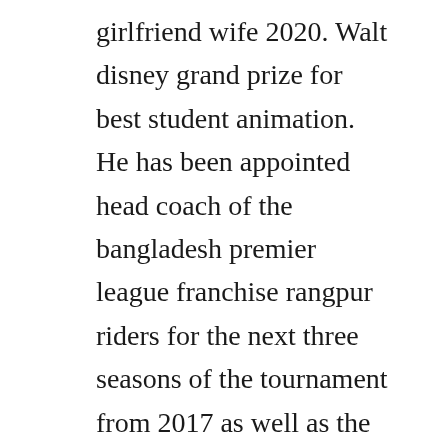girlfriend wife 2020. Walt disney grand prize for best student animation. He has been appointed head coach of the bangladesh premier league franchise rangpur riders for the next three seasons of the tournament from 2017 as well as the head coach of the multan. After a neardeath experience, hollywood film director tom shadyac ace ventura decided to spark a conversation around two rarely asked questions. Video archive for the film i am tom moody, which has a domestic theatrical release in the year of 20. As you may recall, i gave it away free online between 2001 and